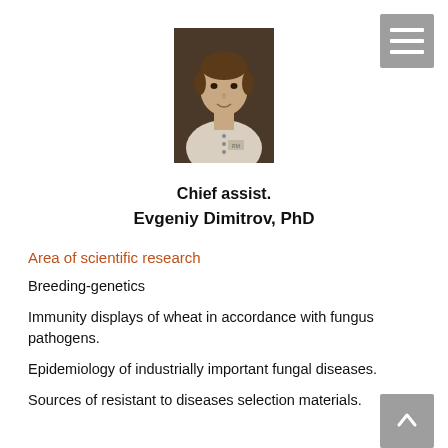[Figure (photo): Portrait photo of Evgeniy Dimitrov, a man with brown hair wearing a light-colored shirt, photo has brown/dark background]
Chief assist.
Evgeniy Dimitrov, PhD
Area of scientific research
Breeding-genetics
Immunity displays of wheat in accordance with fungus pathogens.
Epidemiology of industrially important fungal diseases.
Sources of resistant to diseases selection materials.